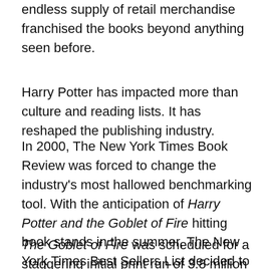endless supply of retail merchandise franchised the books beyond anything seen before.
Harry Potter has impacted more than culture and reading lists. It has reshaped the publishing industry.
In 2000, The New York Times Book Review was forced to change the industry's most hallowed benchmarking tool. With the anticipation of Harry Potter and the Goblet of Fire hitting book stands in the summer, The New York Times Best Sellers List decided to create a best-seller list for children.
The Goblet of Fire was scheduled for a staggering initial print run of 3.8 million books. With its arrival, all four of the Harry Potter novels were predicted to have a stranglehold